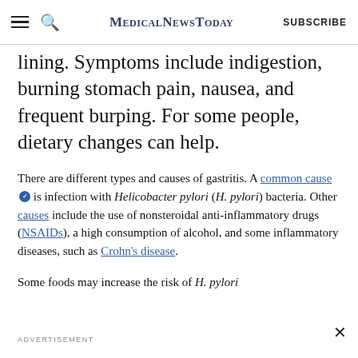MedicalNewsToday | SUBSCRIBE
lining. Symptoms include indigestion, burning stomach pain, nausea, and frequent burping. For some people, dietary changes can help.
There are different types and causes of gastritis. A common cause [trusted] is infection with Helicobacter pylori (H. pylori) bacteria. Other causes include the use of nonsteroidal anti-inflammatory drugs (NSAIDs), a high consumption of alcohol, and some inflammatory diseases, such as Crohn's disease.
Some foods may increase the risk of H. pylori
ADVERTISEMENT